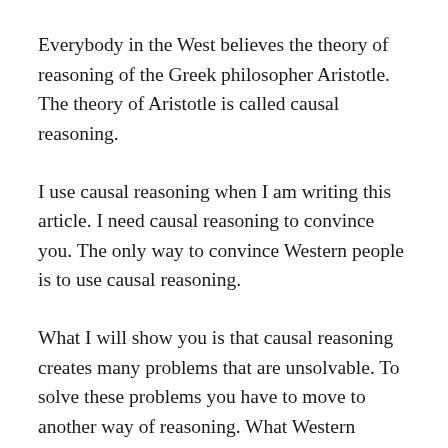Everybody in the West believes the theory of reasoning of the Greek philosopher Aristotle. The theory of Aristotle is called causal reasoning.
I use causal reasoning when I am writing this article. I need causal reasoning to convince you. The only way to convince Western people is to use causal reasoning.
What I will show you is that causal reasoning creates many problems that are unsolvable. To solve these problems you have to move to another way of reasoning. What Western people don’t want to accept is that there are other and more effective ways to reason. The other way to reason was used before Aristotle was